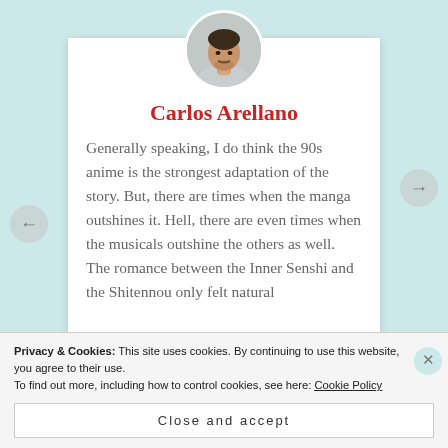[Figure (photo): Circular avatar/profile photo of a young man with dark hair and beard, shown from shoulders up, wearing a light gray shirt.]
Carlos Arellano
Generally speaking, I do think the 90s anime is the strongest adaptation of the story. But, there are times when the manga outshines it. Hell, there are even times when the musicals outshine the others as well. The romance between the Inner Senshi and the Shitennou only felt natural
Privacy & Cookies: This site uses cookies. By continuing to use this website, you agree to their use.
To find out more, including how to control cookies, see here: Cookie Policy
Close and accept